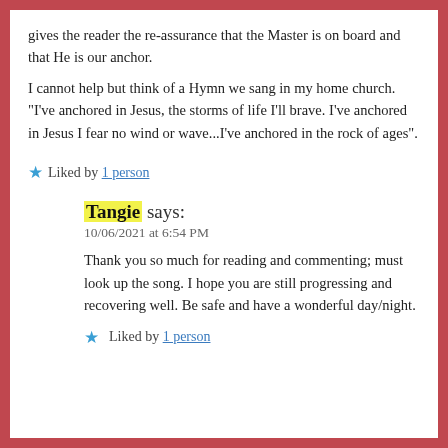gives the reader the re-assurance that the Master is on board and that He is our anchor. I cannot help but think of a Hymn we sang in my home church. "I've anchored in Jesus, the storms of life I'll brave. I've anchored in Jesus I fear no wind or wave...I've anchored in the rock of ages".
★ Liked by 1 person
Tangie says:
10/06/2021 at 6:54 PM
Thank you so much for reading and commenting; must look up the song. I hope you are still progressing and recovering well. Be safe and have a wonderful day/night.
★ Liked by 1 person